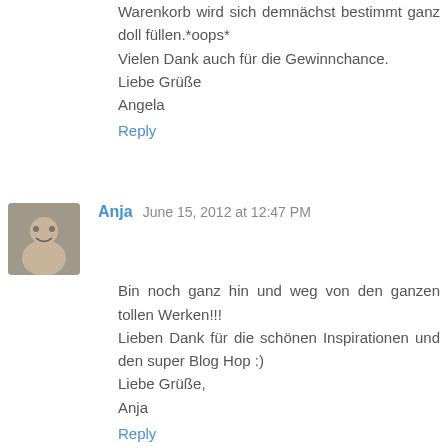Warenkorb wird sich demnächst bestimmt ganz doll füllen.*oops*
Vielen Dank auch für die Gewinnchance.
Liebe Grüße
Angela
Reply
Anja  June 15, 2012 at 12:47 PM
Bin noch ganz hin und weg von den ganzen tollen Werken!!!
Lieben Dank für die schönen Inspirationen und den super Blog Hop :)
Liebe Grüße,
Anja
Reply
Steffi  June 15, 2012 at 1:18 PM
Der Blog Hop hat echt Spaß gemacht! So viele tolle Werke und Inspirationen, einfach Wahnsinn!Leider konnte ich bei